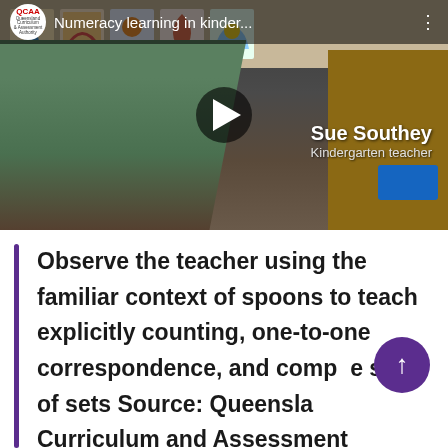[Figure (screenshot): YouTube-style video thumbnail showing a woman (Sue Southey, Kindergarten teacher) in a classroom with children's artwork on the wall. QCAA logo in top-left. Video title 'Numeracy learning in kinder...' in top bar. Play button in center.]
Observe the teacher using the familiar context of spoons to teach explicitly counting, one-to-one correspondence, and compare the size of sets Source: Queensland Curriculum and Assessment Authority